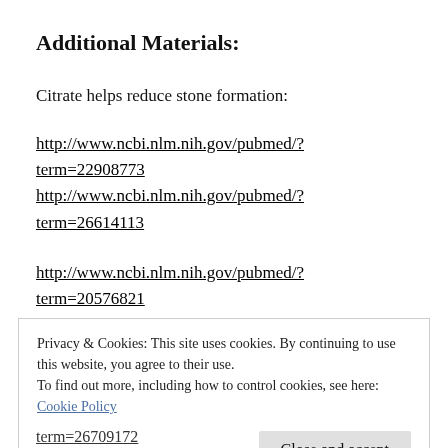Additional Materials:
Citrate helps reduce stone formation:
http://www.ncbi.nlm.nih.gov/pubmed/?term=22908773
http://www.ncbi.nlm.nih.gov/pubmed/?term=26614113
http://www.ncbi.nlm.nih.gov/pubmed/?term=20576821
Privacy & Cookies: This site uses cookies. By continuing to use this website, you agree to their use.
To find out more, including how to control cookies, see here: Cookie Policy
Close and accept
term=26709172